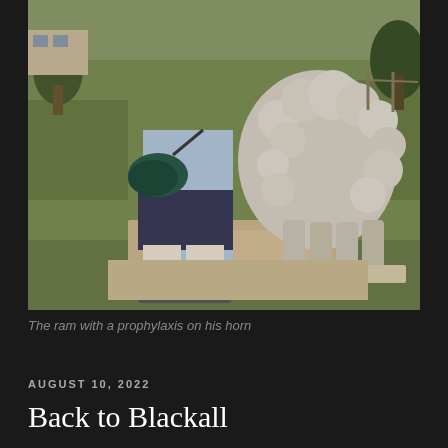[Figure (photo): A person standing next to a large stone/concrete sculpture of a ram (sheep) mounted on a rectangular base, outdoors on a grassy area. The person is wearing a light blue shirt, dark shorts, black socks, and sneakers, and carrying a dark blue patterned bag.]
The ram with a prophylaxis on his horn
AUGUST 10, 2022
Back to Blackall